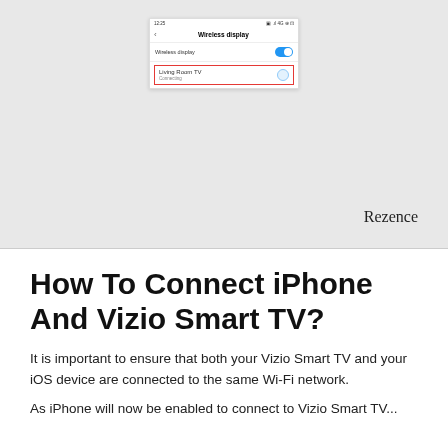[Figure (screenshot): Screenshot of Android Wireless display settings screen showing 'Wireless display' toggle enabled (blue) and 'Living Room TV' device with 'Connecting' status highlighted in a red border box. 'Rezence' watermark in bottom right of image.]
How To Connect iPhone And Vizio Smart TV?
It is important to ensure that both your Vizio Smart TV and your iOS device are connected to the same Wi-Fi network.
As iPhone will now be enabled to connect to Vizio Smart TV...